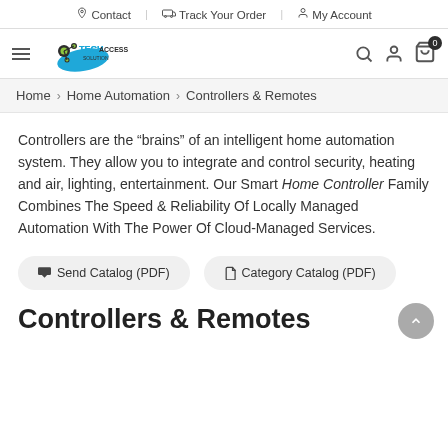Contact | Track Your Order | My Account
[Figure (logo): TechAccess Solution logo with navigation icons (hamburger menu, search, user, cart with 0)]
Home > Home Automation > Controllers & Remotes
Controllers are the “brains” of an intelligent home automation system. They allow you to integrate and control security, heating and air, lighting, entertainment. Our Smart Home Controller Family Combines The Speed & Reliability Of Locally Managed Automation With The Power Of Cloud-Managed Services.
Send Catalog (PDF)  |  Category Catalog (PDF)
Controllers & Remotes